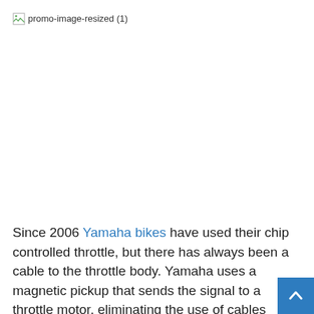[Figure (other): Broken/missing image placeholder with label 'promo-image-resized (1)']
Since 2006 Yamaha bikes have used their chip controlled throttle, but there has always been a cable to the throttle body. Yamaha uses a magnetic pickup that sends the signal to a throttle motor, eliminating the use of cables between you and the throttle body. According to Yamaha, this will make the operation smoother and lighter, ultimately reducing rider